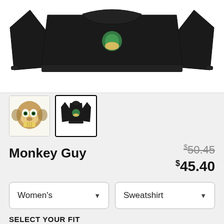[Figure (photo): Black sweatshirt product photo shown flat, front and back view on white background]
[Figure (photo): Thumbnail: illustrated monkey character artwork]
[Figure (photo): Thumbnail: black sweatshirt with monkey artwork, selected (bold border)]
Monkey Guy
$50.45 (strikethrough original price)
$45.40 (sale price)
Women's (dropdown)
Sweatshirt (dropdown)
SELECT YOUR FIT